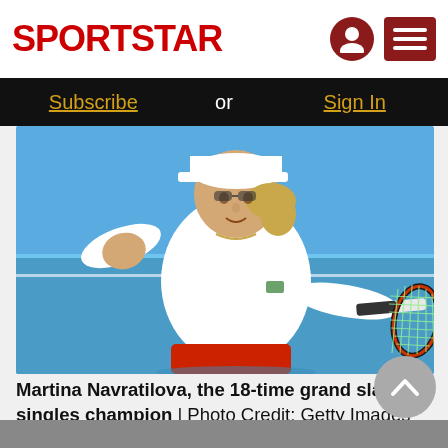SPORTSTAR
Subscribe or Sign In
[Figure (photo): Martina Navratilova playing tennis, wearing white polo shirt and white cap, hitting a forehand shot with a tennis racket on a blue court.]
Martina Navratilova, the 18-time grand slam singles champion | Photo Credit: Getty Images